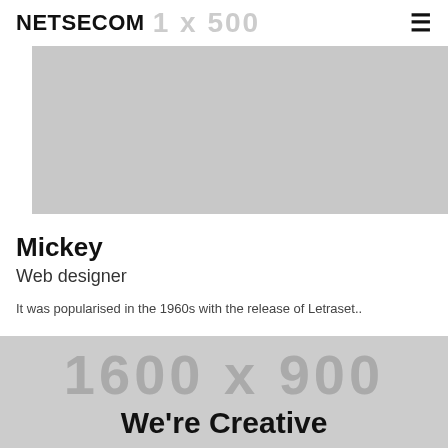NETSECOM
[Figure (photo): Gray placeholder image rectangle, approximately 430x168px]
Mickey
Web designer
It was popularised in the 1960s with the release of Letraset..
[Figure (photo): Gray background section with large watermark text '1600 x 900' and bold text 'We're Creative' partially visible at bottom]